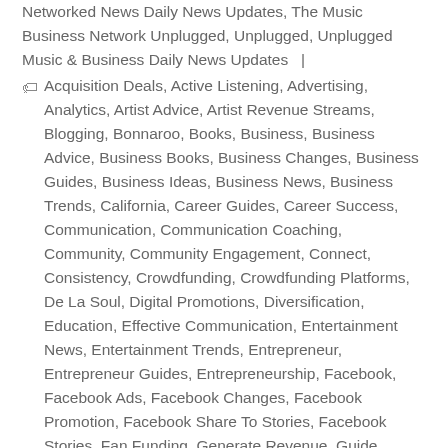Networked News Daily News Updates, The Music Business Network Unplugged, Unplugged, Unplugged Music & Business Daily News Updates   |
Acquisition Deals, Active Listening, Advertising, Analytics, Artist Advice, Artist Revenue Streams, Blogging, Bonnaroo, Books, Business, Business Advice, Business Books, Business Changes, Business Guides, Business Ideas, Business News, Business Trends, California, Career Guides, Career Success, Communication, Communication Coaching, Community, Community Engagement, Connect, Consistency, Crowdfunding, Crowdfunding Platforms, De La Soul, Digital Promotions, Diversification, Education, Effective Communication, Entertainment News, Entertainment Trends, Entrepreneur, Entrepreneur Guides, Entrepreneurship, Facebook, Facebook Ads, Facebook Changes, Facebook Promotion, Facebook Share To Stories, Facebook Stories, Fan Funding, Generate Revenue, Guide Creation, Help Others, Hollywood, Hollywood Park, How To, How To Apply Yourself, How To Build Careers, How To Generate Revenue, Hypebot, Ideas, Independent Musicians, Indie Musicians, Indiegogo, Instagram, Instagram Ads, International Business, Keep Moving Forward, Kickstarter, Learn, Life, Life Advice, Life Guide...